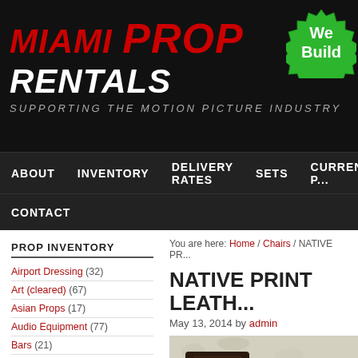MIAMI PROP RENTALS — SUPPORTING THE MOTION PICTURE INDUSTRY
[Figure (logo): Green starburst badge reading 'We Build']
ABOUT | INVENTORY | DELIVERY RATES | SETS | CURRENT P... | CONTACT
PROP INVENTORY
Airport Dressing (32)
Art (cleared) (67)
Asian Props (17)
Audio Equipment (77)
Bars (21)
Baskets (30)
Bathroom and Laundry (34)
Beach and Pool Items (183)
Benches (36)
You are here: Home / Chairs / NATIVE PR...
NATIVE PRINT LEATH...
May 13, 2014 by admin
[Figure (photo): Two dark carved wooden chairs with leather backs against a white textured wall]